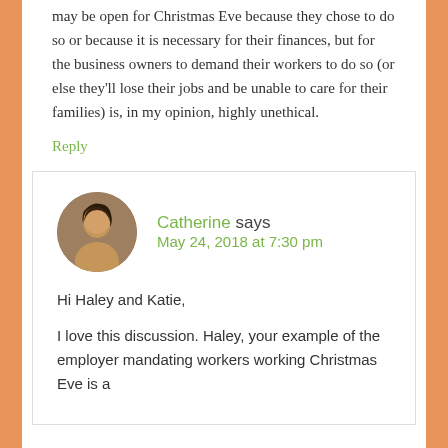may be open for Christmas Eve because they chose to do so or because it is necessary for their finances, but for the business owners to demand their workers to do so (or else they'll lose their jobs and be unable to care for their families) is, in my opinion, highly unethical.
Reply
Catherine says
May 24, 2018 at 7:30 pm
Hi Haley and Katie,
I love this discussion. Haley, your example of the employer mandating workers working Christmas Eve is a